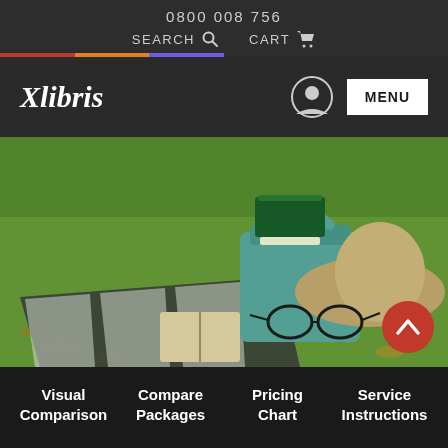0800 008 756
SEARCH   CART
Xlibris
MENU
[Figure (photo): Outdoor scene on grass with a picnic blanket, books in a teal basket, reading glasses, an open book, and a straw hat. Autumn leaves visible.]
Visual Comparison
Compare Packages
Pricing Chart
Service Instructions